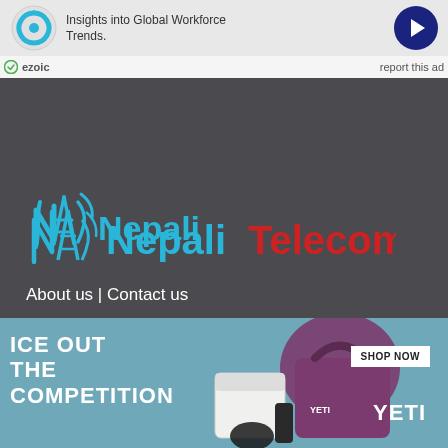[Figure (other): Ezoic advertisement banner showing 'Insights into Global Workforce Trends.' with circular blue icon and dark blue arrow button]
ezoic    report this ad
[Figure (logo): NepaliTelecom logo with tower antenna icon, 'Nepali' in light blue and 'Telecom' in red text]
About us | Contact us
Follow Us
[Figure (other): Social media icons: Facebook, Twitter, Instagram, YouTube — all white on dark background]
[Figure (other): YETI advertisement: 'ICE OUT THE COMPETITION' with YETI cooler and bag products, SHOP NOW button]